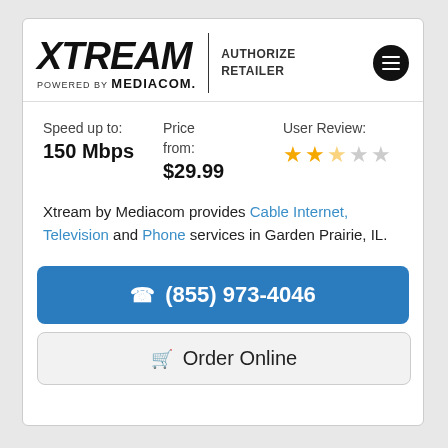[Figure (logo): Xtream powered by Mediacom logo with Authorized Retailer text and hamburger menu icon]
Speed up to: 150 Mbps
Price from: $29.99
User Review: 2.5 out of 5 stars
Xtream by Mediacom provides Cable Internet, Television and Phone services in Garden Prairie, IL.
☎ (855) 973-4046
🛒 Order Online